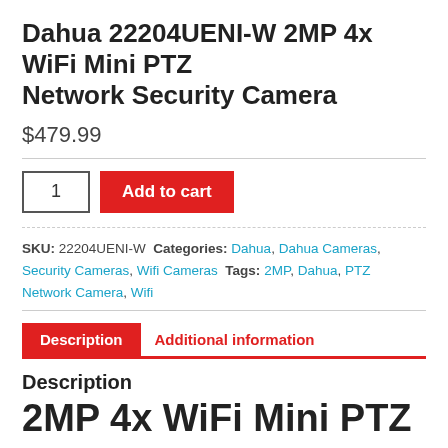Dahua 22204UENI-W 2MP 4x WiFi Mini PTZ Network Security Camera
$479.99
1 | Add to cart
SKU: 22204UENI-W  Categories: Dahua, Dahua Cameras, Security Cameras, Wifi Cameras  Tags: 2MP, Dahua, PTZ Network Camera, Wifi
Description | Additional information
Description
2MP 4x WiFi Mini PTZ